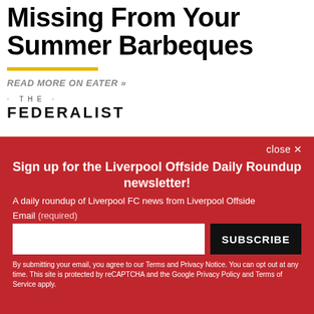Missing From Your Summer Barbeques
READ MORE ON EATER »
[Figure (logo): The Federalist publication logo with '· THE ·' above 'FEDERALIST']
close ×
Sign up for the Liverpool Offside Daily Roundup newsletter!
A daily roundup of Liverpool FC news from Liverpool Offside
Email (required)
SUBSCRIBE
By submitting your email, you agree to our Terms and Privacy Notice. You can opt out at any time. This site is protected by reCAPTCHA and the Google Privacy Policy and Terms of Service apply.